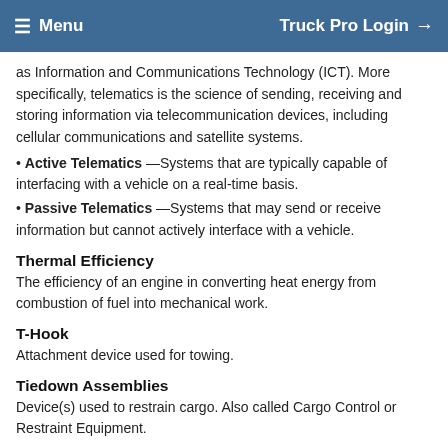Menu   Truck Pro Login
as Information and Communications Technology (ICT). More specifically, telematics is the science of sending, receiving and storing information via telecommunication devices, including cellular communications and satellite systems.
• Active Telematics —Systems that are typically capable of interfacing with a vehicle on a real-time basis.
• Passive Telematics —Systems that may send or receive information but cannot actively interface with a vehicle.
Thermal Efficiency
The efficiency of an engine in converting heat energy from combustion of fuel into mechanical work.
T-Hook
Attachment device used for towing.
Tiedown Assemblies
Device(s) used to restrain cargo. Also called Cargo Control or Restraint Equipment.
Tilt Cab